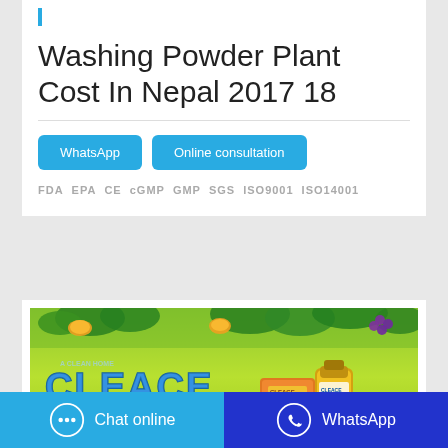Washing Powder Plant Cost In Nepal 2017 18
WhatsApp   Online consultation
FDA  EPA  CE  cGMP  GMP  SGS  ISO9001  ISO14001
[Figure (photo): CLEACE brand product advertisement banner with fruits (mangoes, grapes) background and orange/gold product packaging]
Chat online   WhatsApp